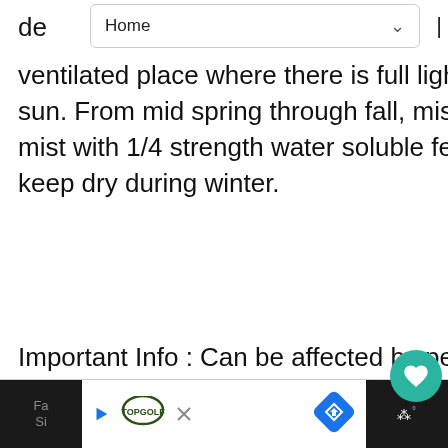Home
de... ventilated place where there is full light and protection from hot sun. From mid spring through fall, mist daily and once a month, mist with 1/4 strength water soluble fertilizer. If grown outdoors, keep dry during winter.
Important Info : Can be affected by pests and diseases.
Google Plant Images: click here!
Characteristics
Cultivar: n/a
[Figure (screenshot): Bottom advertisement bar with TopGolf logo, navigation arrow icon, and dark right panel]
Fa...
Si...